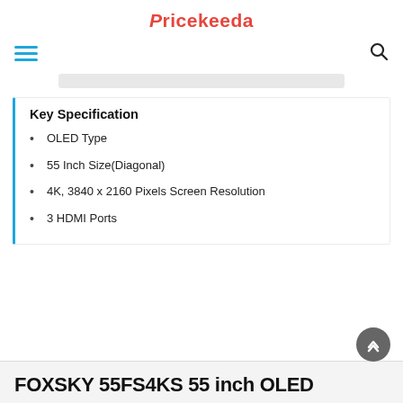Pricekeeda
Key Specification
OLED Type
55 Inch Size(Diagonal)
4K, 3840 x 2160 Pixels Screen Resolution
3 HDMI Ports
FOXSKY 55FS4KS 55 inch OLED